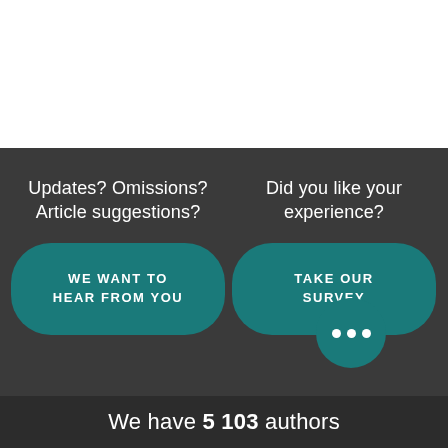Updates? Omissions? Article suggestions?
Did you like your experience?
WE WANT TO HEAR FROM YOU
TAKE OUR SURVEY
We have 5 103 authors